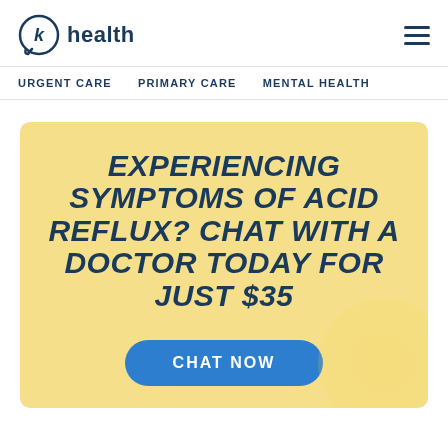k health
URGENT CARE   PRIMARY CARE   MENTAL HEALTH
EXPERIENCING SYMPTOMS OF ACID REFLUX? CHAT WITH A DOCTOR TODAY FOR JUST $35
CHAT NOW